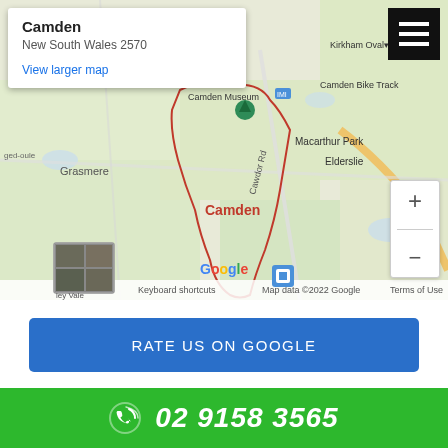[Figure (map): Google Maps screenshot showing Camden, New South Wales 2570, with map popup showing location name and View larger map link. Map shows Camden area with surrounding suburbs including Grasmere, Elderslie, Macarthur Park. Red boundary outline for Camden suburb. Zoom controls and satellite thumbnail visible. Google branding and attribution at bottom.]
RATE US ON GOOGLE
02 9158 3565